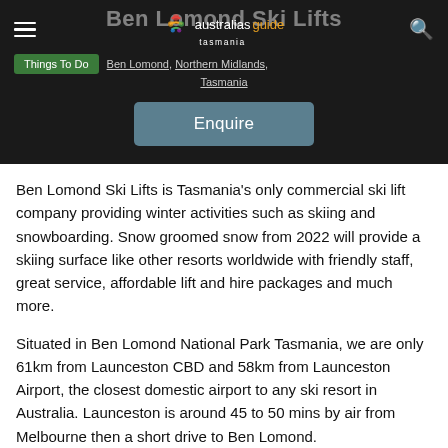australias.guide tasmania — Ben Lomond Ski Lifts
Things To Do   Ben Lomond, Northern Midlands, Tasmania
Enquire
Ben Lomond Ski Lifts is Tasmania's only commercial ski lift company providing winter activities such as skiing and snowboarding. Snow groomed snow from 2022 will provide a skiing surface like other resorts worldwide with friendly staff, great service, affordable lift and hire packages and much more.
Situated in Ben Lomond National Park Tasmania, we are only 61km from Launceston CBD and 58km from Launceston Airport, the closest domestic airport to any ski resort in Australia. Launceston is around 45 to 50 mins by air from Melbourne then a short drive to Ben Lomond.